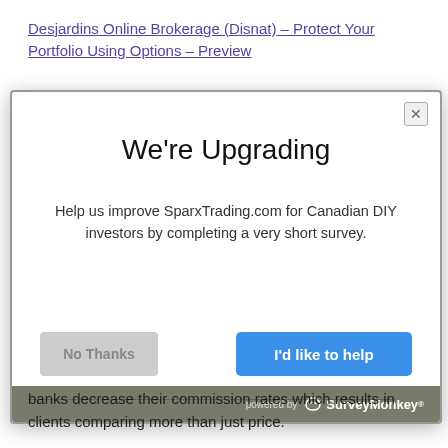Desjardins Online Brokerage (Disnat) – Protect Your Portfolio Using Options – Preview
[Figure (screenshot): A modal dialog popup titled 'We're Upgrading' asking users to help improve SparxTrading.com for Canadian DIY investors by completing a short survey. Contains a 'No Thanks' gray button and a blue 'I'd like to help' button. Footer shows 'powered by SurveyMonkey' on a gray/olive background.]
banks decrease their commission rates which results in clients comparing more than just price.